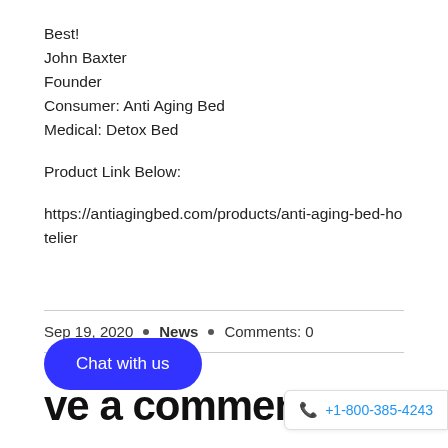Best!
John Baxter
Founder
Consumer: Anti Aging Bed
Medical: Detox Bed
Product Link Below:
https://antiagingbed.com/products/anti-aging-bed-hotelier
Sep 19, 2020 • News • Comments: 0
Chat with us
ve a comment
+1-800-385-4243